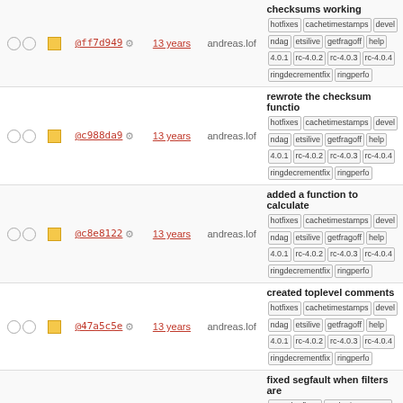| checks | icon | hash | age | author | message/tags |
| --- | --- | --- | --- | --- | --- |
| ○○ | ▪ | @ff7d949 ⚙ | 13 years | andreas.lof | checksums working | hotfixes cachetimestamps devel ndag etsilive getfragoff help 4.0.1 rc-4.0.2 rc-4.0.3 rc-4.0.4 ringdecrementfix ringperfo |
| ○○ | ▪ | @c988da9 ⚙ | 13 years | andreas.lof | rewrote the checksum functio | hotfixes cachetimestamps devel ndag etsilive getfragoff help 4.0.1 rc-4.0.2 rc-4.0.3 rc-4.0.4 ringdecrementfix ringperfo |
| ○○ | ▪ | @c8e8122 ⚙ | 13 years | andreas.lof | added a function to calculate | hotfixes cachetimestamps devel ndag etsilive getfragoff help 4.0.1 rc-4.0.2 rc-4.0.3 rc-4.0.4 ringdecrementfix ringperfo |
| ○○ | ▪ | @47a5c5e ⚙ | 13 years | andreas.lof | created toplevel comments | hotfixes cachetimestamps devel ndag etsilive getfragoff help 4.0.1 rc-4.0.2 rc-4.0.3 rc-4.0.4 ringdecrementfix ringperfo |
| ○○ | ▪ | @05000f9 ⚙ | 13 years | andreas.lof | fixed segfault when filters are | 4.0.1-hotfixes cachetimestamps ndag etsilive getfragoff help 4.0.1 rc-4.0.2 rc-4.0.3 rc-4.0.4 ringdecrementfix ringperfo |
| ○○ | ▪ | @2b9a4c7 ⚙ | 13 years | yww4 | using getopt for commandline support | 4.0.1-hotfixes cachetimestamps ndag etsilive getfragoff help 4.0.1 rc-4.0.2 rc-4.0.3 rc-4.0.4 ringdecrementfix ringperfo |
| ○○ | ▪ | @099c35e ⚙ | 13 years | yww4 | add tracereplay Makefile.am | hotfixes cachetimestamps devel ndag etsilive getfragoff help 4.0.1 rc-4.0.2 |